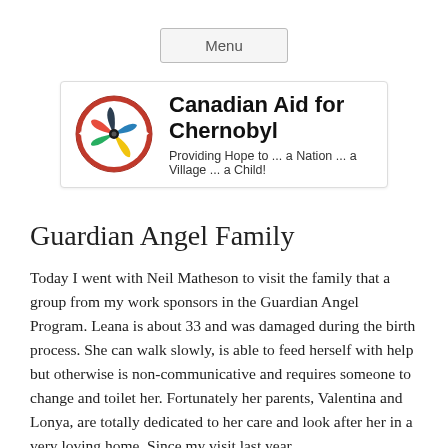Menu
[Figure (logo): Canadian Aid for Chernobyl organization logo with circular emblem and text: Canadian Aid for Chernobyl, Providing Hope to ... a Nation ... a Village ... a Child!]
Guardian Angel Family
Today I went with Neil Matheson to visit the family that a group from my work sponsors in the Guardian Angel Program. Leana is about 33 and was damaged during the birth process. She can walk slowly, is able to feed herself with help but otherwise is non-communicative and requires someone to change and toilet her. Fortunately her parents, Valentina and Lonya, are totally dedicated to her care and look after her in a very loving home. Since my visit last year